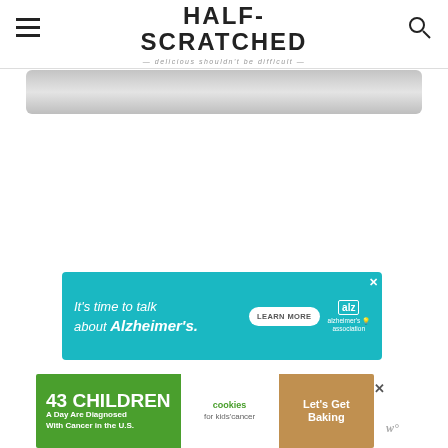HALF-SCRATCHED — delicious shouldn't be difficult
[Figure (screenshot): Gray gradient banner/image strip below the site header]
[Figure (infographic): Teal advertisement banner: It's time to talk about Alzheimer's. LEARN MORE button. Alzheimer's association logo.]
[Figure (infographic): Two partial ad banners at bottom: '43 CHILDREN A Day Are Diagnosed With Cancer in the U.S.' with cookies for kids' cancer and Let's Get Baking on orange-brown background]